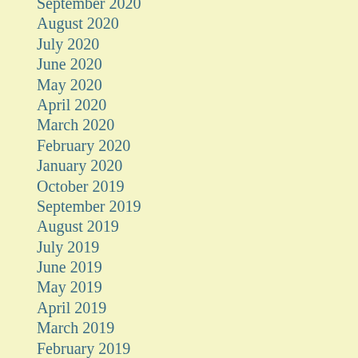September 2020
August 2020
July 2020
June 2020
May 2020
April 2020
March 2020
February 2020
January 2020
October 2019
September 2019
August 2019
July 2019
June 2019
May 2019
April 2019
March 2019
February 2019
January 2019
December 2018